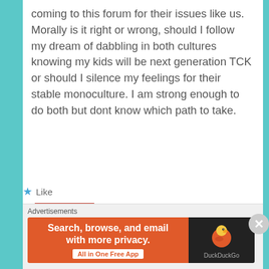coming to this forum for their issues like us. Morally is it right or wrong, should I follow my dream of dabbling in both cultures knowing my kids will be next generation TCK or should I silence my feelings for their stable monoculture. I am strong enough to do both but dont know which path to take.
★ Like
REPLY
Sammy
April 15, 2013 at 12:05 am
Advertisements
[Figure (infographic): DuckDuckGo advertisement banner: orange left side with text 'Search, browse, and email with more privacy. All in One Free App', black right side with DuckDuckGo duck logo and brand name.]